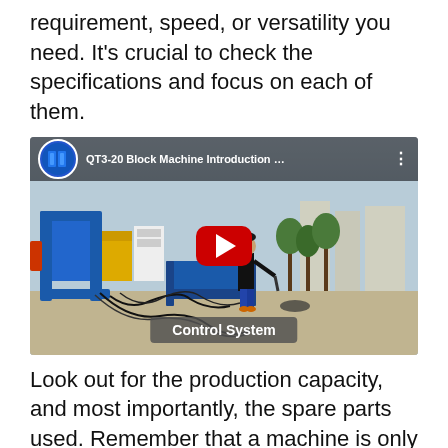requirement, speed, or versatility you need. It's crucial to check the specifications and focus on each of them.
[Figure (screenshot): YouTube video thumbnail showing QT3-20 Block Machine Introduction with a man standing next to a large blue block-making machine. A red play button is centered on the image. A 'Control System' label appears at the bottom of the video thumbnail.]
Look out for the production capacity, and most importantly, the spare parts used. Remember that a machine is only as good as Its spare parts.
Also, when you call the company, take note of the